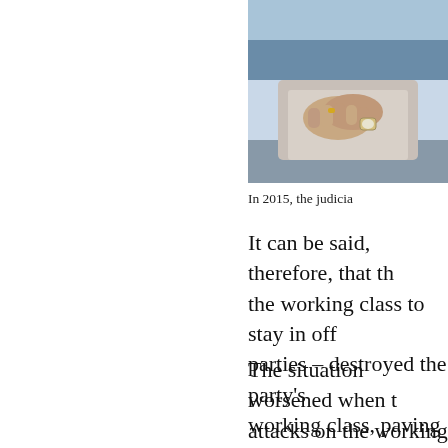[Figure (photo): A person with hands clasped together, photographed from chest up, wearing a watch and ring, blue background]
In 2015, the judicia
It can be said, therefore, that the working class to stay in off parties – destroyed the party's working class, paving the way bourgeois politicians were bus did not organise any serious de but no serious campaign of sus
The situation worsened when t attacks on the working class. T strike in April 2017. The Brazi